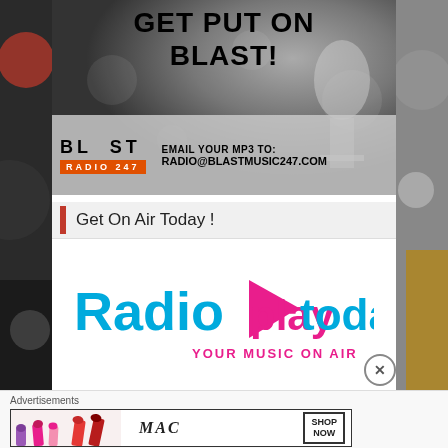[Figure (illustration): Blast Radio 247 promotional banner with microphone background, text 'GET PUT ON BLAST!', logo showing 'BLAST RADIO 247', and email 'EMAIL YOUR MP3 TO: radio@blastmusic247.com']
Get On Air Today !
[Figure (logo): RadioPlayToday logo — 'Radio' in blue, 'play' in pink with triangular play button icon, 'today' in blue, tagline 'YOUR MUSIC ON AIR' in pink]
Advertisements
[Figure (illustration): MAC cosmetics advertisement showing lipsticks and 'SHOP NOW' button]